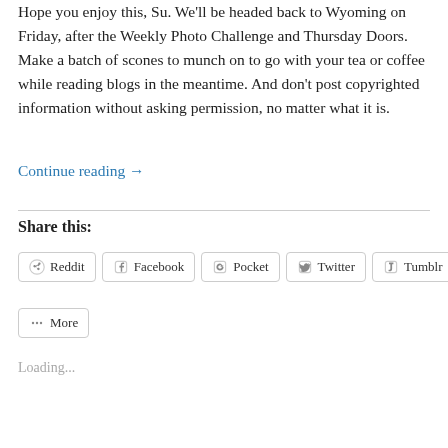Hope you enjoy this, Su.  We'll be headed back to Wyoming on Friday, after the Weekly Photo Challenge and Thursday Doors.  Make a batch of scones to munch on to go with your tea or coffee while reading blogs in the meantime.  And don't post copyrighted information without asking permission, no matter what it is.
Continue reading →
Share this:
Reddit  Facebook  Pocket  Twitter  Tumblr  More
Loading...